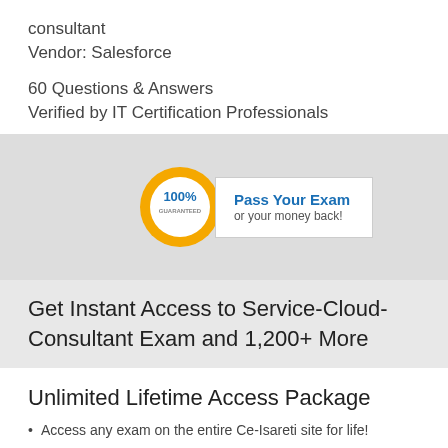consultant
Vendor: Salesforce
60 Questions & Answers
Verified by IT Certification Professionals
[Figure (infographic): Gold seal badge with '100% GUARANTEED' text and a white box reading 'Pass Your Exam or your money back!']
Get Instant Access to Service-Cloud-Consultant Exam and 1,200+ More
Unlimited Lifetime Access Package
Access any exam on the entire Ce-Isareti site for life!